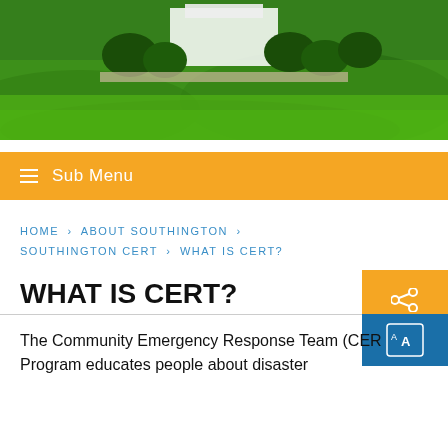[Figure (photo): Aerial or wide-angle photo of a green lawn with trees and a white building or monument in the background]
☰ Sub Menu
HOME > ABOUT SOUTHINGTON > SOUTHINGTON CERT > WHAT IS CERT?
WHAT IS CERT?
The Community Emergency Response Team (CERT) Program educates people about disaster